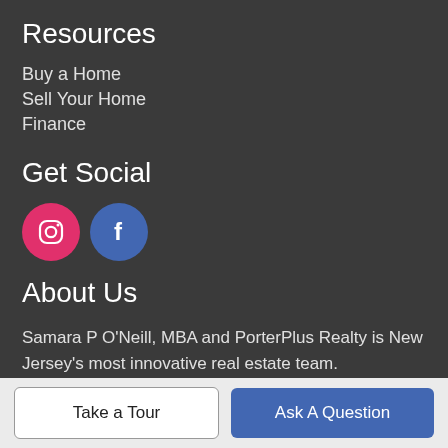Resources
Buy a Home
Sell Your Home
Finance
Get Social
[Figure (illustration): Instagram icon (pink circle with camera outline) and Facebook icon (blue circle with 'f')]
About Us
Samara P O'Neill, MBA and PorterPlus Realty is New Jersey's most innovative real estate team.
PORTERPLUS REALTY
25 N. Countyline Rd, Jackson, NJ 08527
Take a Tour
Ask A Question